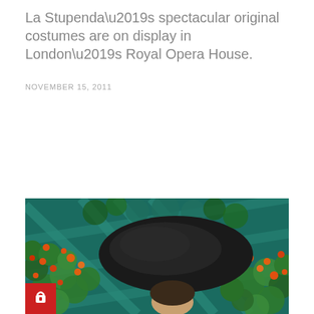La Stupenda’s spectacular original costumes are on display in London’s Royal Opera House.
NOVEMBER 15, 2011
[Figure (illustration): A painting showing a woman wearing a large black hat viewed from behind/side, surrounded by lush green foliage with orange/red flowers against a teal lattice background. A red badge with a padlock icon is visible at the bottom left of the image.]